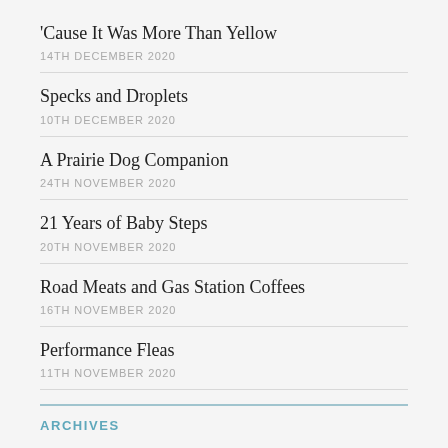'Cause It Was More Than Yellow
14TH DECEMBER 2020
Specks and Droplets
10TH DECEMBER 2020
A Prairie Dog Companion
24TH NOVEMBER 2020
21 Years of Baby Steps
20TH NOVEMBER 2020
Road Meats and Gas Station Coffees
16TH NOVEMBER 2020
Performance Fleas
11TH NOVEMBER 2020
ARCHIVES